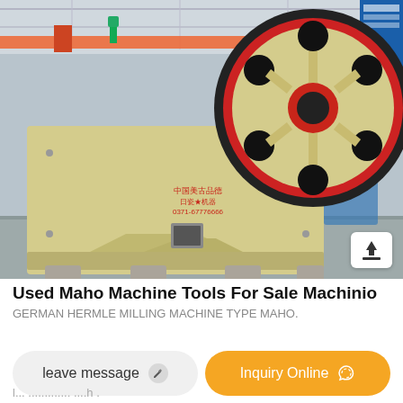[Figure (photo): Large industrial jaw crusher machine with cream/beige body and red flywheel, photographed inside a factory/warehouse. Chinese text and phone number visible on the machine body. Red overhead cranes visible in background.]
Used Maho Machine Tools For Sale Machinio
GERMAN HERMLE MILLING MACHINE TYPE MAHO.
leave message
Inquiry Online